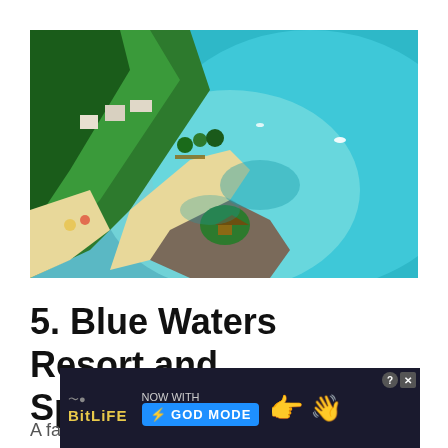[Figure (photo): Aerial view of a tropical beach resort with turquoise water, a rocky peninsula, palm trees, sandy beach, and resort buildings along the shoreline.]
5. Blue Waters Resort and Spa
A fa...
[Figure (other): BitLife advertisement banner: 'BitLife NOW WITH GOD MODE' with cartoon hand pointing, close and help buttons.]